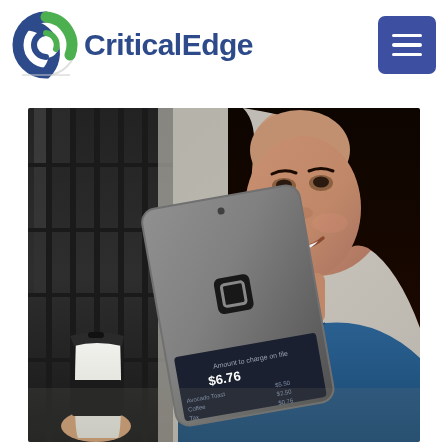[Figure (logo): CriticalEdge logo with circular C/G icon in green and dark blue/navy, followed by 'CriticalEdge' text in dark blue]
[Figure (other): Hamburger/menu button icon - three horizontal white lines on a dark blue/indigo rounded square button]
[Figure (photo): Photo of a smiling woman with dark hair holding a Square payment tablet/POS device showing a transaction amount of $6.76, with a person holding a coffee cup in the foreground, urban background]